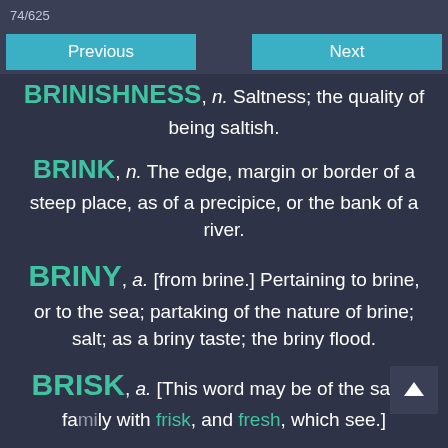74/625
Previous | Next
BRINISHNESS, n. Saltness; the quality of being saltish.
BRINK, n. The edge, margin or border of a steep place, as of a precipice, or the bank of a river.
BRINY, a. [from brine.] Pertaining to brine, or to the sea; partaking of the nature of brine; salt; as a briny taste; the briny flood.
BRISK, a. [This word may be of the same family with frisk, and fresh, which see.]